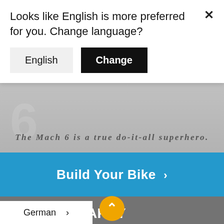[Figure (screenshot): Bike product page screenshot showing two black tire tops against a grey background]
The Mach 6 is a true do-it-all superhero.
Build Your Bike >
BUILT TO PARTY
Our Race builds pair supremely durable Marzocchi ocks with omber Z1 air forks. Pro and Team builds feature Fox DHX2 coil shocks and
Looks like English is more preferred for you. Change language?
English
Change
German >